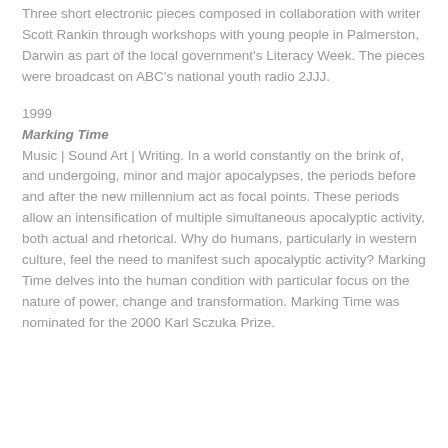Three short electronic pieces composed in collaboration with writer Scott Rankin through workshops with young people in Palmerston, Darwin as part of the local government's Literacy Week. The pieces were broadcast on ABC's national youth radio 2JJJ.
1999
Marking Time
Music | Sound Art | Writing. In a world constantly on the brink of, and undergoing, minor and major apocalypses, the periods before and after the new millennium act as focal points. These periods allow an intensification of multiple simultaneous apocalyptic activity, both actual and rhetorical. Why do humans, particularly in western culture, feel the need to manifest such apocalyptic activity? Marking Time delves into the human condition with particular focus on the nature of power, change and transformation. Marking Time was nominated for the 2000 Karl Sczuka Prize.